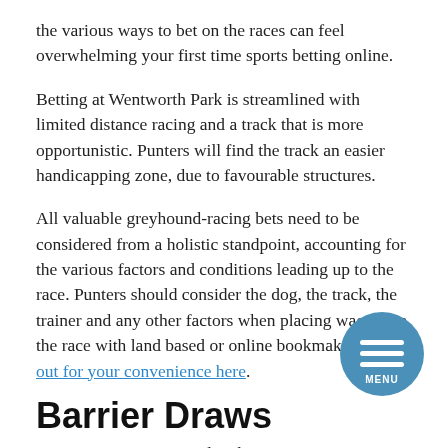the various ways to bet on the races can feel overwhelming your first time sports betting online.
Betting at Wentworth Park is streamlined with limited distance racing and a track that is more opportunistic. Punters will find the track an easier handicapping zone, due to favourable structures.
All valuable greyhound-racing bets need to be considered from a holistic standpoint, accounting for the various factors and conditions leading up to the race. Punters should consider the dog, the track, the trainer and any other factors when placing wagers on the race with land based or online bookmakers sorted out for your convenience here.
Barrier Draws
Barrier Draws are considered...